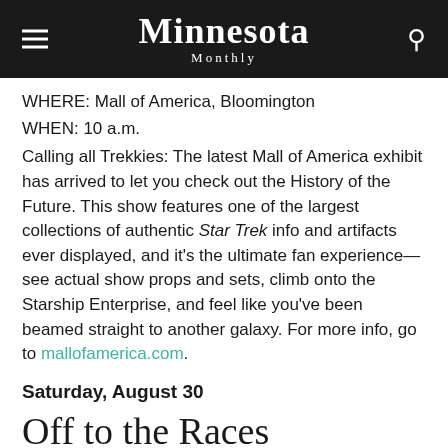Minnesota Monthly
WHERE: Mall of America, Bloomington
WHEN: 10 a.m.
Calling all Trekkies: The latest Mall of America exhibit has arrived to let you check out the History of the Future. This show features one of the largest collections of authentic Star Trek info and artifacts ever displayed, and it’s the ultimate fan experience—see actual show props and sets, climb onto the Starship Enterprise, and feel like you’ve been beamed straight to another galaxy. For more info, go to mallofamerica.com.
Saturday, August 30
Off to the Races